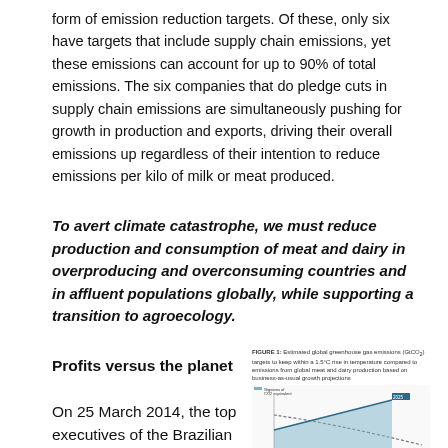form of emission reduction targets. Of these, only six have targets that include supply chain emissions, yet these emissions can account for up to 90% of total emissions. The six companies that do pledge cuts in supply chain emissions are simultaneously pushing for growth in production and exports, driving their overall emissions up regardless of their intention to reduce emissions per kilo of milk or meat produced.
To avert climate catastrophe, we must reduce production and consumption of meat and dairy in overproducing and overconsuming countries and in affluent populations globally, while supporting a transition to agroecology.
Profits versus the planet
FIGURE 1: Estimated global greenhouse gas emissions (GtCO2) targets to keep within a 1.5°C rise in temperature compared to emissions from global meat and dairy production based on business-as-usual growth projections
[Figure (line-chart): Line chart showing estimated global greenhouse gas emissions targets vs business-as-usual projections from meat and dairy production]
On 25 March 2014, the top executives of the Brazilian